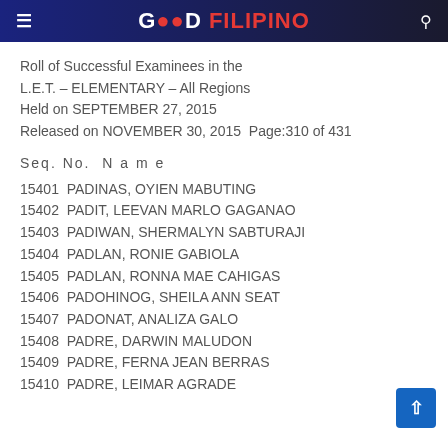GOOD FILIPINO
Roll of Successful Examinees in the L.E.T. – ELEMENTARY – All Regions Held on SEPTEMBER 27, 2015 Released on NOVEMBER 30, 2015 Page:310 of 431
Seq. No.  N a m e
15401 PADINAS, OYIEN MABUTING
15402 PADIT, LEEVAN MARLO GAGANAO
15403 PADIWAN, SHERMALYN SABTURAJI
15404 PADLAN, RONIE GABIOLA
15405 PADLAN, RONNA MAE CAHIGAS
15406 PADOHINOG, SHEILA ANN SEAT
15407 PADONAT, ANALIZA GALO
15408 PADRE, DARWIN MALUDON
15409 PADRE, FERNA JEAN BERRAS
15410 PADRE, LEIMAR AGRADE